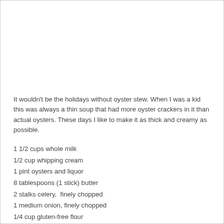It wouldn't be the holidays without oyster stew. When I was a kid this was always a thin soup that had more oyster crackers in it than actual oysters. These days I like to make it as thick and creamy as possible.
1 1/2 cups whole milk
1/2 cup whipping cream
1 pint oysters and liquor
8 tablespoons (1 stick) butter
2 stalks celery,  finely chopped
1 medium onion, finely chopped
1/4 cup gluten-free flour
1 teaspoon celery salt
1 teaspoon Chesapeake Bay seasoning
1 1/2 teaspoons hot sauce
1 tablespoon lemon juice
1 tablespoon fresh parsley